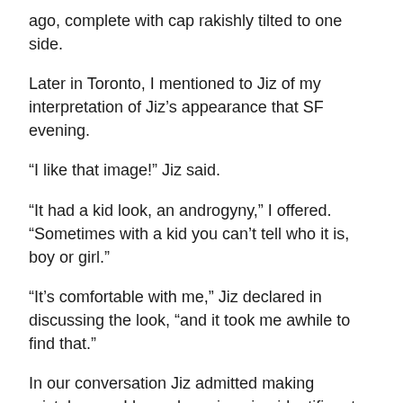ago, complete with cap rakishly tilted to one side.
Later in Toronto, I mentioned to Jiz of my interpretation of Jiz's appearance that SF evening.
“I like that image!” Jiz said.
“It had a kid look, an androgyny,” I offered. “Sometimes with a kid you can’t tell who it is, boy or girl.”
“It’s comfortable with me,” Jiz declared in discussing the look, “and it took me awhile to find that.”
In our conversation Jiz admitted making mistakes, as I have done, in using identifiers to describe others. Jiz explained that Jiz has friends who prefer the pronouns “they” and “them.” When asked to sort through the meaning of terms like “descriptors” “identities,” and “roles,”